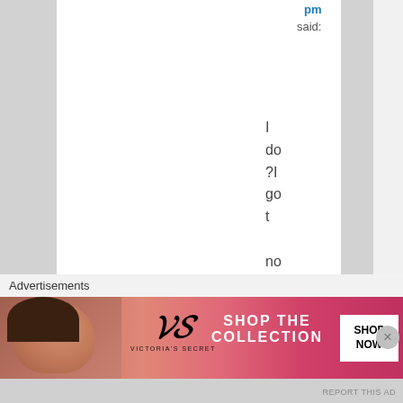pm
said:
I do ?I go t no pr obl em wit h sp elli ng, th
Advertisements
[Figure (photo): Victoria's Secret advertisement banner with model, VS logo, 'SHOP THE COLLECTION' text and 'SHOP NOW' button on pink/red gradient background]
REPORT THIS AD